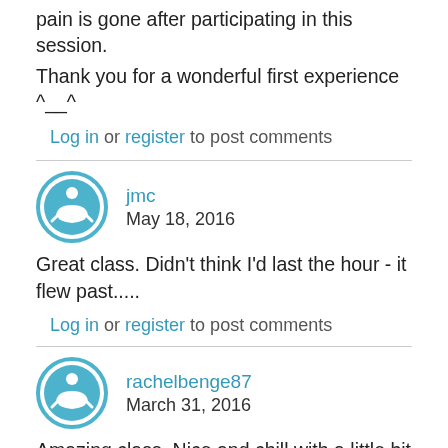pain is gone after participating in this session.
Thank you for a wonderful first experience ^__^
Log in or register to post comments
jmc
May 18, 2016
Great class. Didn't think I'd last the hour - it flew past.....
Log in or register to post comments
rachelbenge87
March 31, 2016
Amazing class. Nice and chill with a little bit of challenge. Loved it!!